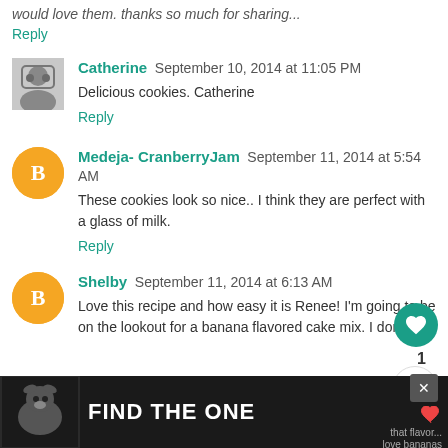would love them. thanks so much for sharing...
Reply
Catherine  September 10, 2014 at 11:05 PM
Delicious cookies. Catherine
Reply
Medeja- CranberryJam  September 11, 2014 at 5:54 AM
These cookies look so nice.. I think they are perfect with a glass of milk.
Reply
Shelby  September 11, 2014 at 6:13 AM
Love this recipe and how easy it is Renee! I'm going to be on the lookout for a banana flavored cake mix. I don't buy that flavor...love bananas
[Figure (infographic): Advertisement banner at bottom: dark background with dog image and text FIND THE ONE with a heart symbol]